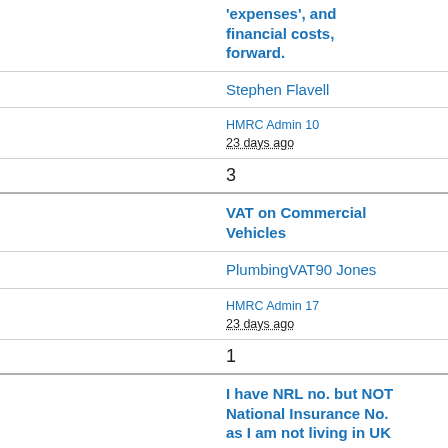'expenses', and financial costs, forward.
Stephen Flavell
HMRC Admin 10
23 days ago
3
VAT on Commercial Vehicles
PlumbingVAT90 Jones
HMRC Admin 17
23 days ago
1
I have NRL no. but NOT National Insurance No. as I am not living in UK